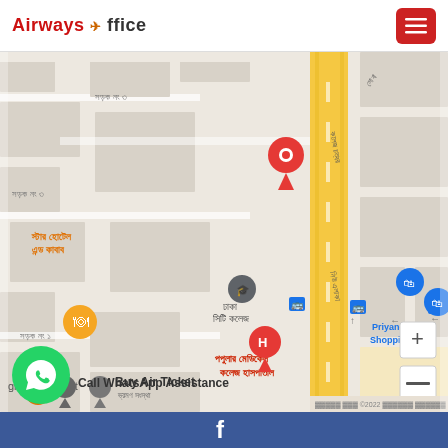Airways Office
[Figure (map): Google Maps screenshot showing location in Dhaka, Bangladesh. Features a red location pin marker near Dhaka City College on a main road (yellow highway). Bengali text labels for streets (সড়ক নং ৩, সড়ক নং ১), Star Hotel and Kabab, Dhaka City College, Popular Medical College Hospital, Priyangan Shopping, Buy Air Ticket travel agency markers. Blue bus stop icons. Map zoom controls (+ and -) in bottom right. Copyright 2022 notice at bottom.]
Call WhatsApp Assistance